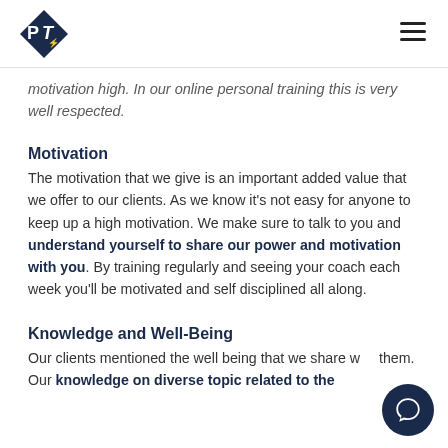PT logo and navigation menu
motivation high. In our online personal training this is very well respected.
Motivation
The motivation that we give is an important added value that we offer to our clients. As we know it's not easy for anyone to keep up a high motivation. We make sure to talk to you and understand yourself to share our power and motivation with you. By training regularly and seeing your coach each week you'll be motivated and self disciplined all along.
Knowledge and Well-Being
Our clients mentioned the well being that we share with them. Our knowledge on diverse topic related to the